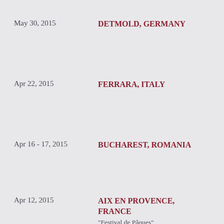May 30, 2015 — DETMOLD, GERMANY
Apr 22, 2015 — FERRARA, ITALY
Apr 16 - 17, 2015 — BUCHAREST, ROMANIA
Apr 12, 2015 — AIX EN PROVENCE, FRANCE — "Festival de Pâques"